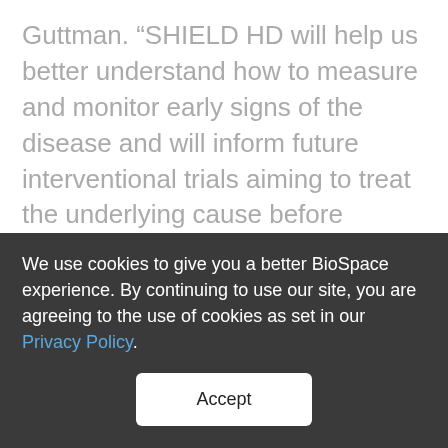Guttman. “SHIELD HD will help us better understand how to measure and monitor early signs of the disease and will inform future interventional trials aiming to treat the underlying cause before significant damage has occurred.”
Triplet is pursuing a transformative approach to developing treatments for HD and other repeat expansion disorders, a group of more than 50 known genetic diseases associated with expanded
We use cookies to give you a better BioSpace experience. By continuing to use our site, you are agreeing to the use of cookies as set in our Privacy Policy.
Accept